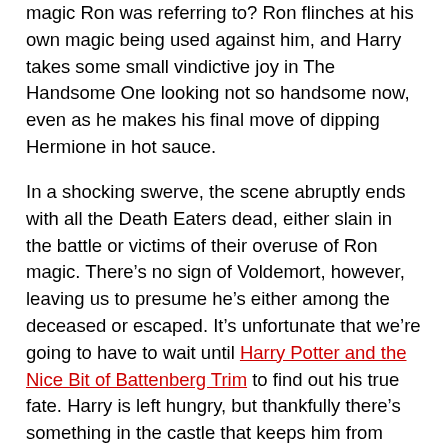magic Ron was referring to? Ron flinches at his own magic being used against him, and Harry takes some small vindictive joy in The Handsome One looking not so handsome now, even as he makes his final move of dipping Hermione in hot sauce.
In a shocking swerve, the scene abruptly ends with all the Death Eaters dead, either slain in the battle or victims of their overuse of Ron magic. There’s no sign of Voldemort, however, leaving us to presume he’s either among the deceased or escaped. It’s unfortunate that we’re going to have to wait until Harry Potter and the Nice Bit of Battenberg Trim to find out his true fate. Harry is left hungry, but thankfully there’s something in the castle that keeps him from eating up Hermione, even as she’s covered in hot sauce.
From there we get a standard celebratory feast in the Great Hall complete with moaning chandeliers (from